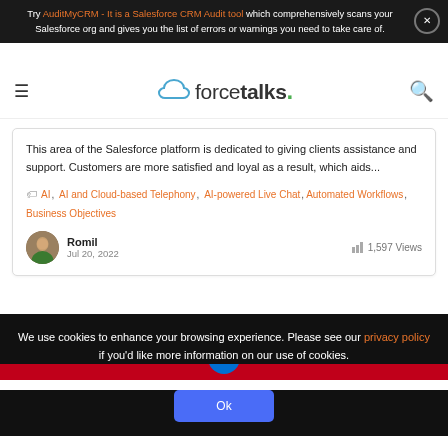Try AuditMyCRM - It is a Salesforce CRM Audit tool which comprehensively scans your Salesforce org and gives you the list of errors or warnings you need to take care of.
[Figure (logo): forcetalks logo with cloud icon]
This area of the Salesforce platform is dedicated to giving clients assistance and support. Customers are more satisfied and loyal as a result, which aids...
AI, AI and Cloud-based Telephony, AI-powered Live Chat, Automated Workflows, Business Objectives
Romil
Jul 20, 2022
1,597 Views
[Figure (photo): Salesforce branded red banner with Salesforce logo badge]
We use cookies to enhance your browsing experience. Please see our privacy policy if you'd like more information on our use of cookies.
Ok